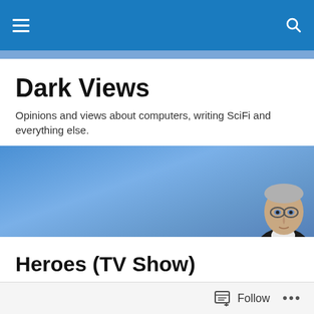Dark Views — navigation bar with hamburger menu and search icon
Dark Views
Opinions and views about computers, writing SciFi and everything else.
[Figure (photo): Blue gradient hero banner with a man wearing glasses and dark clothing in the right corner]
Heroes (TV Show)
*gasp* (Sound after emerging from a two day Heroes Season 1 marathon). If you haven't seen this, yet, you should...
Follow   ...